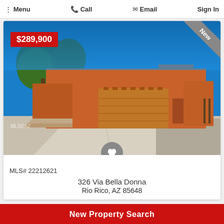Menu  Call  Email  Sign In
[Figure (photo): Exterior photo of a single-story adobe/stucco home with orange/terracotta walls, large two-car garage, concrete driveway, gravel landscaping, and desert trees under a bright blue sky. Price badge '$289,900' in red top-left. 'New' ribbon in gray top-right.]
MLS# 22212621
326 Via Bella Donna
Rio Rico, AZ 85648
New Property Search